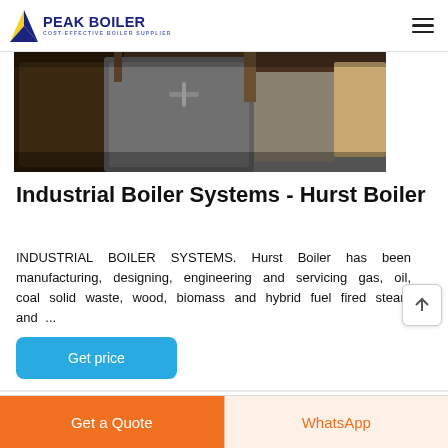PEAK BOILER COST-EFFECTIVE BOILER SUPPLIER
[Figure (photo): Industrial boiler equipment photo showing metallic boiler components and machinery in a facility]
Industrial Boiler Systems - Hurst Boiler
INDUSTRIAL BOILER SYSTEMS. Hurst Boiler has been manufacturing, designing, engineering and servicing gas, oil, coal solid waste, wood, biomass and hybrid fuel fired steam and ...
Get price
Get a Quote
WhatsApp